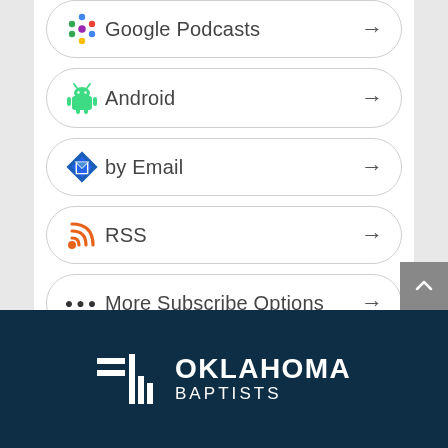Google Podcasts →
Android →
by Email →
RSS →
More Subscribe Options →
[Figure (logo): Oklahoma Baptists logo — white text with stylized bar-and-pillar icon on dark navy background]